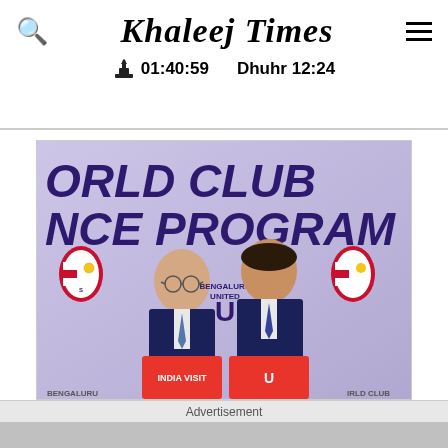Khaleej Times  01:40:59  Dhuhr 12:24
[Figure (photo): Two men in suits holding red Sevilla FC / Bengaluru United jerseys with 'INDIA VISIT' text, standing in front of a purple 'WORLD CLUB ALLIANCE PROGRAM' backdrop.]
Advertisement